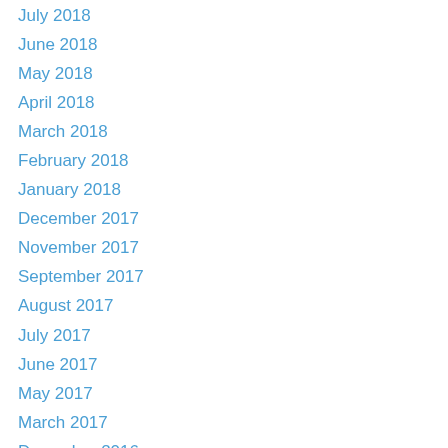July 2018
June 2018
May 2018
April 2018
March 2018
February 2018
January 2018
December 2017
November 2017
September 2017
August 2017
July 2017
June 2017
May 2017
March 2017
December 2016
November 2016
October 2016
August 2016
July 2016